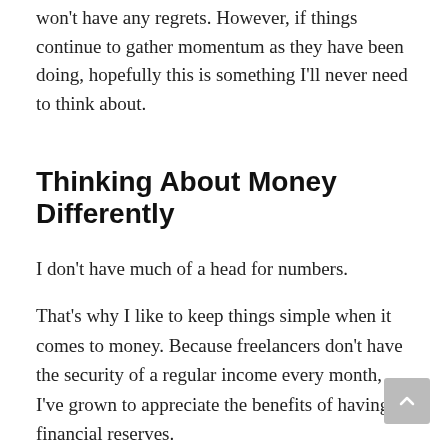won't have any regrets. However, if things continue to gather momentum as they have been doing, hopefully this is something I'll never need to think about.
Thinking About Money Differently
I don't have much of a head for numbers.
That's why I like to keep things simple when it comes to money. Because freelancers don't have the security of a regular income every month, I've grown to appreciate the benefits of having financial reserves.
And although I'm not buying islands and windsurfing before breakfast like some (sigh), I'm not quite taking a hammer to my piggy bank either. Whenever I find myself worrying about money, I remind myself of this Bob Dylan quote: